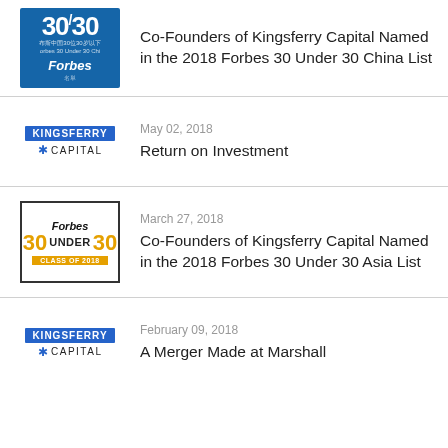[Figure (logo): Forbes 30 Under 30 China logo — blue background with '30/30' text and Forbes branding]
Co-Founders of Kingsferry Capital Named in the 2018 Forbes 30 Under 30 China List
[Figure (logo): Kingsferry Capital logo — blue rectangle with white text and star]
May 02, 2018
Return on Investment
[Figure (logo): Forbes 30 Under 30 Asia logo — bordered box with gold/black text and 'Class of 2018' banner]
March 27, 2018
Co-Founders of Kingsferry Capital Named in the 2018 Forbes 30 Under 30 Asia List
[Figure (logo): Kingsferry Capital logo — blue rectangle with white text and star]
February 09, 2018
A Merger Made at Marshall